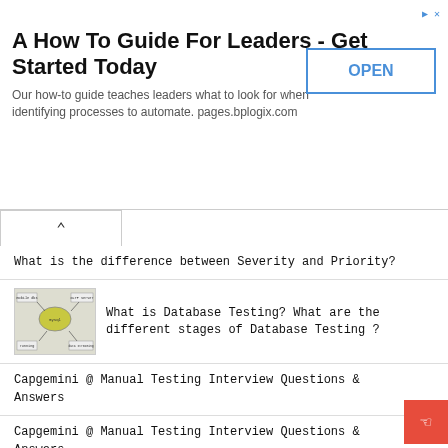[Figure (other): Advertisement banner: 'A How To Guide For Leaders - Get Started Today' with OPEN button and description 'Our how-to guide teaches leaders what to look for when identifying processes to automate. pages.bplogix.com']
What is the difference between Severity and Priority?
[Figure (other): Thumbnail diagram showing database architecture with cloud/blob shape in center connected to boxes labeled 'mobile dbs', 'OLTP server', 'running', 'data streaming']
What is Database Testing? What are the different stages of Database Testing ?
Capgemini @ Manual Testing Interview Questions & Answers
Capgemini @ Manual Testing Interview Questions & Answers
What if the Client finds a Defect after delivering the product? How will you react and justify?
Capgemini @ Manual Testing Interview Questions